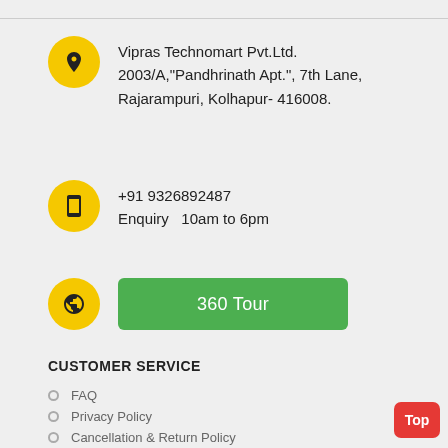Vipras Technomart Pvt.Ltd. 2003/A,"Pandhrinath Apt.", 7th Lane, Rajarampuri, Kolhapur- 416008.
+91 9326892487
Enquiry  10am to 6pm
[Figure (other): 360 Tour green button with globe icon circle]
CUSTOMER SERVICE
FAQ
Privacy Policy
Cancellation & Return Policy
Terms & Conditions